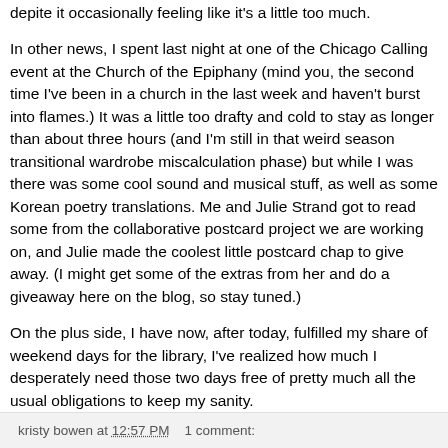depite it occasionally feeling like it's a little too much.
In other news, I spent last night at one of the Chicago Calling event at the Church of the Epiphany (mind you, the second time I've been in a church in the last week and haven't burst into flames.) It was a little too drafty and cold to stay as longer than about three hours (and I'm still in that weird season transitional wardrobe miscalculation phase) but while I was there was some cool sound and musical stuff, as well as some Korean poetry translations. Me and Julie Strand got to read some from the collaborative postcard project we are working on, and Julie made the coolest little postcard chap to give away. (I might get some of the extras from her and do a giveaway here on the blog, so stay tuned.)
On the plus side, I have now, after today, fulfilled my share of weekend days for the library, I've realized how much I desperately need those two days free of pretty much all the usual obligations to keep my sanity.
kristy bowen at 12:57 PM   1 comment: